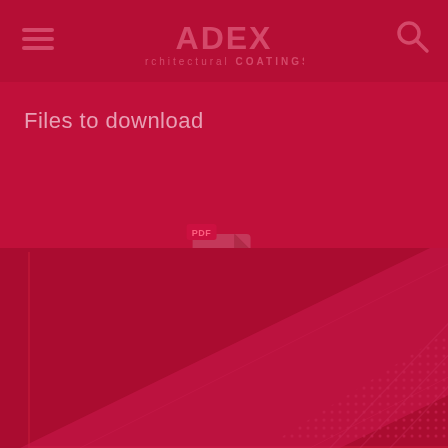[Figure (logo): ADEX Architectural Coatings logo in header bar on dark red background]
Files to download
[Figure (other): PDF document icon with 'PDF' label badge]
TECHNICAL SHEET
[Figure (other): Decorative diagonal architectural element / product image in dark red tones at bottom of page]